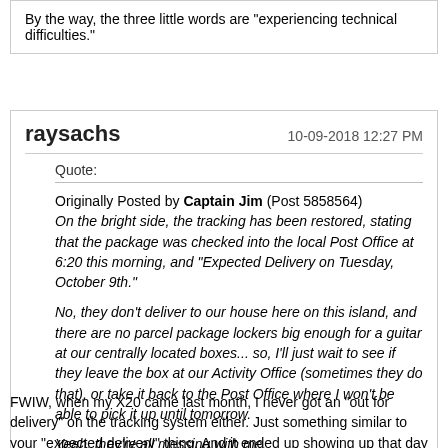By the way, the three little words are "experiencing technical difficulties."
raysachs
10-09-2018 12:27 PM
Quote:
Originally Posted by Captain Jim (Post 5858564)
On the bright side, the tracking has been restored, stating that the package was checked into the local Post Office at 6:20 this morning, and "Expected Delivery on Tuesday, October 9th."

No, they don't deliver to our house here on this island, and there are no parcel package lockers big enough for a guitar at our centrally located boxes... so, I'll just wait to see if they leave the box at our Activity Office (sometimes they do that), or take it back to the Post Office where I won't be able to pick it up until tomorrow.

Yeah, they're all messing with me.
FWIW, when my X20 came last month, I never got an "out for delivery" on the tracking system either. Just something similar to your "expected delivery" thing. And it ended up showing up that day pretty early. So